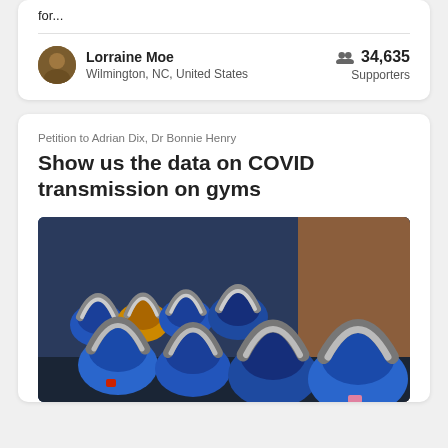for...
Lorraine Moe
Wilmington, NC, United States
34,635 Supporters
Petition to Adrian Dix, Dr Bonnie Henry
Show us the data on COVID transmission on gyms
[Figure (photo): Photo of multiple blue kettlebells with chrome handles arranged on a surface, with a wooden background visible.]